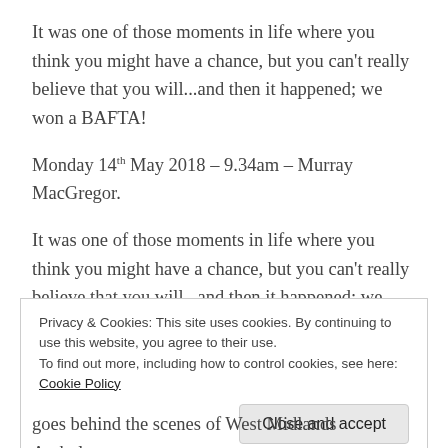It was one of those moments in life where you think you might have a chance, but you can't really believe that you will...and then it happened; we won a BAFTA!
Monday 14th May 2018 – 9.34am – Murray MacGregor.
It was one of those moments in life where you think you might have a chance, but you can't really believe that you will...and then it happened; we won a BAFTA!
We are so humbled that Ambulance, won Best Factual
Privacy & Cookies: This site uses cookies. By continuing to use this website, you agree to their use.
To find out more, including how to control cookies, see here: Cookie Policy
goes behind the scenes of West Midlands Ambulance